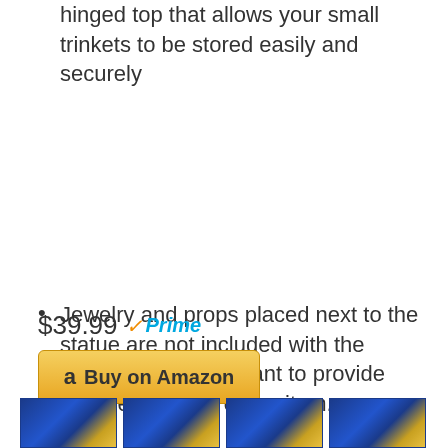hinged top that allows your small trinkets to be stored easily and securely
Jewelry and props placed next to the statue are not included with the listing. They are meant to provide size perspective of the item.
$39.99 Prime
Buy on Amazon